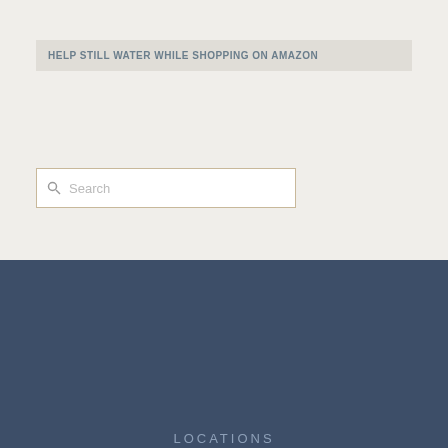HELP STILL WATER WHILE SHOPPING ON AMAZON
[Figure (other): Search input box with magnifying glass icon and placeholder text 'Search']
ADDRESS
Still Water MPC
P.O. Box 11360
Takoma Park, MD 20913
LOCATIONS